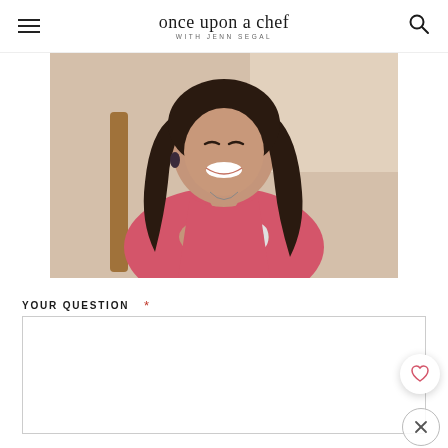once upon a chef — WITH JENN SEGAL
[Figure (photo): A smiling woman with long dark hair, wearing a red/coral top, sitting and holding a white coffee mug with both hands]
YOUR QUESTION *
[Figure (other): Text area input box for user question, with a heart (favorite) button and a close (X) button overlay]